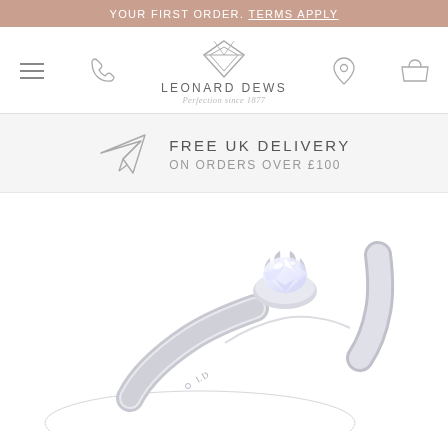YOUR FIRST ORDER. TERMS APPLY
[Figure (logo): Leonard Dews logo with diamond icon, brand name LEONARD DEWS, tagline Perfection since 1877, plus navigation icons for menu, phone, location, and basket]
FREE UK DELIVERY
ON ORDERS OVER £100
[Figure (photo): Close-up photograph of a platinum diamond solitaire engagement ring with a round brilliant cut diamond set in a four-claw setting, with LD logo engraved on the band interior]